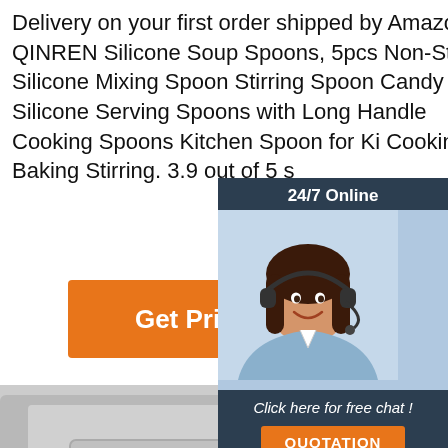Delivery on your first order shipped by Amazon. QINREN Silicone Soup Spoons, 5pcs Non-Stick Silicone Mixing Spoon Stirring Spoon Candy Color Silicone Serving Spoons with Long Handle Cooking Spoons Kitchen Spoon for Ki... Cooking Baking Stirring. 3.9 out of 5 s...
Get Price
[Figure (photo): 24/7 Online chat widget with woman wearing headset, 'Click here for free chat!' text and QUOTATION button]
[Figure (photo): Commercial oven with flames visible through glass window, control panel on right side showing temperature displays (350, 330)]